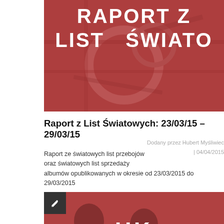[Figure (photo): Red-tinted banner image with large bold white text reading 'LIST ŚWIATO' (cropped), showing industrial/mechanical background elements]
Raport z List Światowych: 23/03/15 – 29/03/15
Dodany przez Hubert Myśliwiec | 04/04/2015
Raport ze światowych list przebojów oraz światowych list sprzedaży albumów opublikowanych w okresie od 23/03/2015 do 29/03/2015
[Figure (photo): Red-tinted banner image with large bold white text reading 'UK CHARO' (cropped), showing silhouetted figures, with pencil/edit badge in top-left corner]